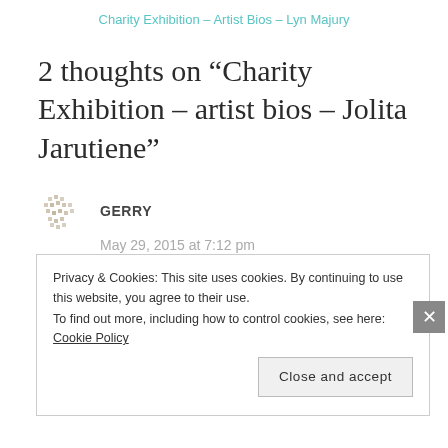Charity Exhibition – Artist Bios – Lyn Majury
2 thoughts on “Charity Exhibition – artist bios – Jolita Jarutiene”
GERRY
May 29, 2015 at 7:12 pm

Thinking of you tomorrow….have a great day…lots of love…G. xx
Privacy & Cookies: This site uses cookies. By continuing to use this website, you agree to their use.
To find out more, including how to control cookies, see here: Cookie Policy
Close and accept